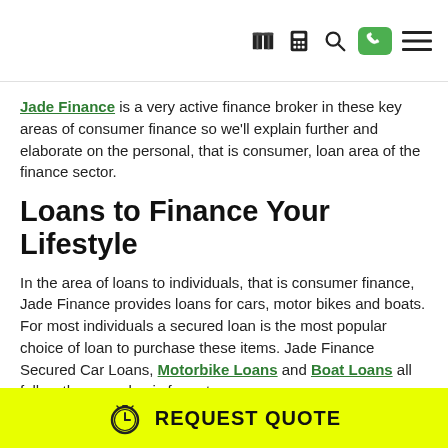[Navigation icons: book, calculator, search, phone, menu]
Jade Finance is a very active finance broker in these key areas of consumer finance so we'll explain further and elaborate on the personal, that is consumer, loan area of the finance sector.
Loans to Finance Your Lifestyle
In the area of loans to individuals, that is consumer finance, Jade Finance provides loans for cars, motor bikes and boats. For most individuals a secured loan is the most popular choice of loan to purchase these items. Jade Finance Secured Car Loans, Motorbike Loans and Boat Loans all follow the same basic format:
REQUEST QUOTE